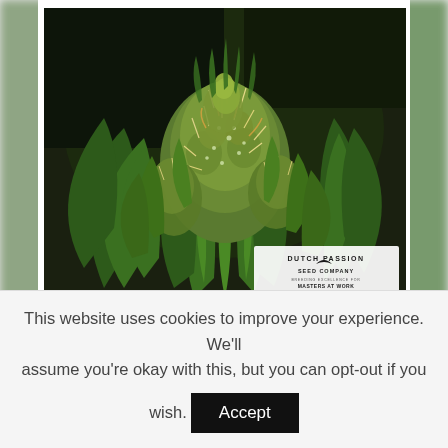[Figure (photo): Close-up photograph of a cannabis plant flower bud with green leaves and trichomes, with a Dutch Passion Seed Company logo/label visible in the lower right of the image.]
SHAMAN (3) £17 (10) £44
This website uses cookies to improve your experience. We'll assume you're okay with this, but you can opt-out if you wish. Accept